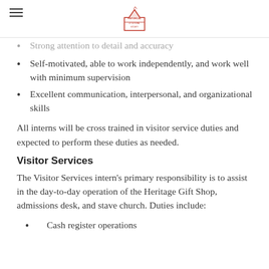[Historical & Cultural Society logo]
Strong attention to detail and accuracy
Self-motivated, able to work independently, and work well with minimum supervision
Excellent communication, interpersonal, and organizational skills
All interns will be cross trained in visitor service duties and expected to perform these duties as needed.
Visitor Services
The Visitor Services intern's primary responsibility is to assist in the day-to-day operation of the Heritage Gift Shop, admissions desk, and stave church. Duties include:
Cash register operations